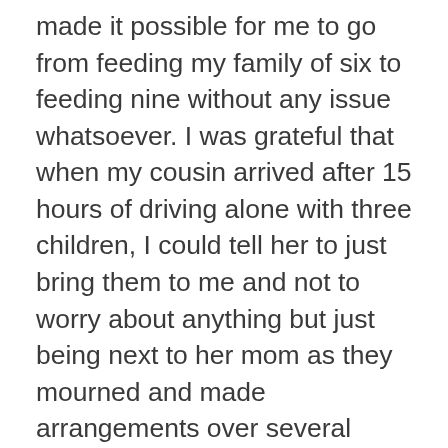made it possible for me to go from feeding my family of six to feeding nine without any issue whatsoever. I was grateful that when my cousin arrived after 15 hours of driving alone with three children, I could tell her to just bring them to me and not to worry about anything but just being next to her mom as they mourned and made arrangements over several days.
My list above doesn't always happen, and that's okay. When somebody stops